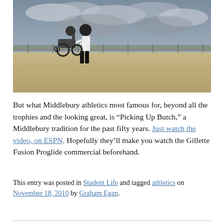[Figure (photo): Outdoor photo of a person pushing another person in a wheelchair on a paved area, with a railing, trees, and cloudy sky in the background.]
But what Middlebury athletics most famous for, beyond all the trophies and the looking great, is “Picking Up Butch,” a Middlebury tradition for the past fifty years. Just watch the video, on ESPN. Hopefully they’ll make you watch the Gillette Fusion Proglide commercial beforehand.
This entry was posted in Student Life and tagged athletics on November 18, 2010 by Graham Egan.